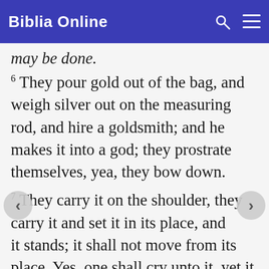Biblia Online
may be done.
6 They pour gold out of the bag, and weigh silver out on the measuring rod, and hire a goldsmith; and he makes it into a god; they prostrate themselves, yea, they bow down.
7 They carry it on the shoulder, they carry it and set it in its place, and it stands; it shall not move from its place. Yes, one shall cry unto it, yet it cannot answer, nor save him out of his trouble.
8 Remember this, and be a man; refresh the memory of your heart, you who rebel